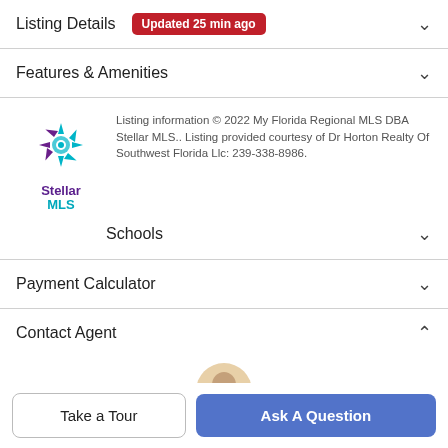Listing Details  Updated 25 min ago
Features & Amenities
Listing information © 2022 My Florida Regional MLS DBA Stellar MLS.. Listing provided courtesy of Dr Horton Realty Of Southwest Florida Llc: 239-338-8986.
Schools
Payment Calculator
Contact Agent
Take a Tour
Ask A Question